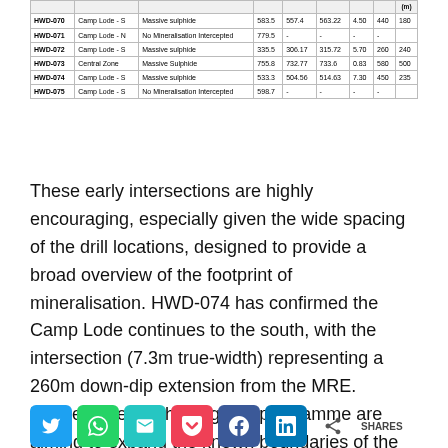| Hole ID | Zone | Mineralisation Style | EOH (m) | From (m) | To (m) | True Width (m) | Dip (m) | Az (m) |
| --- | --- | --- | --- | --- | --- | --- | --- | --- |
| HWD-070 | Camp Lode - S | Massive sulphide | 583.5 | 557.4 | 563.22 | 4.50 | 440 | 180 |
| HWD-071 | Camp Lode - N | No Mineralisation Intercepted | 779.5 | - | - | - | - |  |
| HWD-072 | Camp Lode - S | Massive sulphide | 335.5 | 306.17 | 315.72 | 5.70 | 260 | 240 |
| HWD-073 | Central Zone | Massive Sulphide | 755.8 | 732.77 | 733.6 | 0.83 | 580 | 500 |
| HWD-074 | Camp Lode - S | Massive sulphide | 533.3 | 504.56 | 514.63 | 7.30 | 450 | 235 |
| HWD-075 | Camp Lode - S | No Mineralisation Intercepted | 598.7 | - | - | - | - |  |
These early intersections are highly encouraging, especially given the wide spacing of the drill locations, designed to provide a broad overview of the footprint of mineralisation. HWD-074 has confirmed the Camp Lode continues to the south, with the intersection (7.3m true-width) representing a 260m down-dip extension from the MRE. Further holes in the ongoing programme are aiming to expand the known boundaries of the deposit.